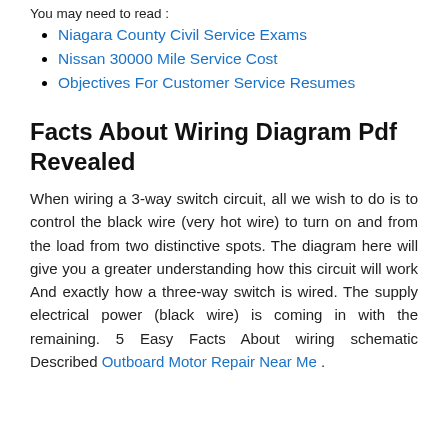You may need to read :
Niagara County Civil Service Exams
Nissan 30000 Mile Service Cost
Objectives For Customer Service Resumes
Facts About Wiring Diagram Pdf Revealed
When wiring a 3-way switch circuit, all we wish to do is to control the black wire (very hot wire) to turn on and from the load from two distinctive spots. The diagram here will give you a greater understanding how this circuit will work And exactly how a three-way switch is wired. The supply electrical power (black wire) is coming in with the remaining. 5 Easy Facts About wiring schematic Described Outboard Motor Repair Near Me .